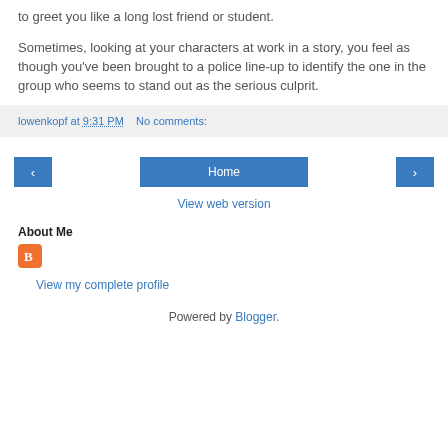to greet you like a long lost friend or student.
Sometimes, looking at your characters at work in a story, you feel as though you've been brought to a police line-up to identify the one in the group who seems to stand out as the serious culprit.
lowenkopf at 9:31 PM   No comments:
[Figure (screenshot): Navigation buttons: left arrow, Home, right arrow]
View web version
About Me
[Figure (logo): Blogger orange B icon]
View my complete profile
Powered by Blogger.